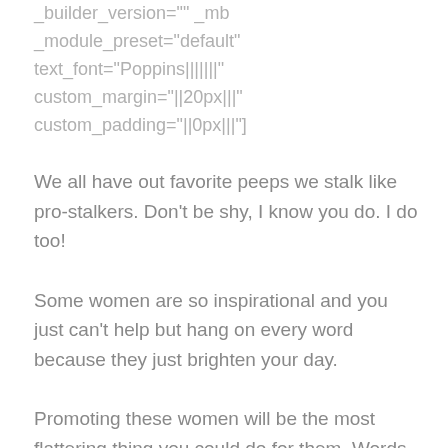_builder_version="" _mb _module_preset="default" text_font="Poppins|||||||" custom_margin="||20px|||" custom_padding="||0px|||"]
We all have out favorite peeps we stalk like pro-stalkers. Don't be shy, I know you do. I do too!
Some women are so inspirational and you just can't help but hang on every word because they just brighten your day.
Promoting these women will be the most flattering thing you could do for them. Words are great but when you put them